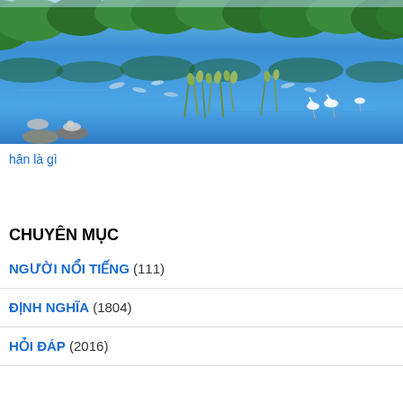[Figure (photo): A nature scene with a blue lake reflecting green trees and sky, with birds (egrets/herons) wading in water and reeds/grass growing in the foreground and background.]
hân là gì
CHUYÊN MỤC
NGƯỜI NỔI TIẾNG (111)
ĐỊNH NGHĨA (1804)
HỎI ĐÁP (2016)